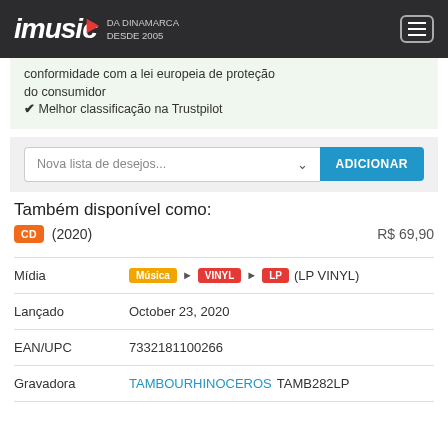imusic DA DINAMARCA DESDE 2005
conformidade com a lei europeia de proteção do consumidor
✔ Melhor classificação na Trustpilot
Nova lista de desejos... ADICIONAR
Também disponível como:
CD (2020) R$ 69,90
| Campo | Valor |
| --- | --- |
| Mídia | Música ▶ VINYL ▶ LP (LP VINYL) |
| Lançado | October 23, 2020 |
| EAN/UPC | 7332181100266 |
| Gravadora | TAMBOURHINOCEROS TAMB282LP |